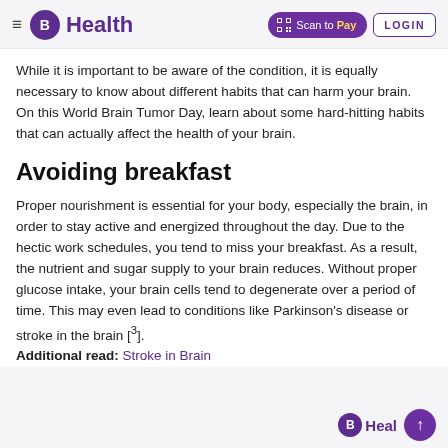B Health | Scan to Pay | LOGIN
While it is important to be aware of the condition, it is equally necessary to know about different habits that can harm your brain. On this World Brain Tumor Day, learn about some hard-hitting habits that can actually affect the health of your brain.
Avoiding breakfast
Proper nourishment is essential for your body, especially the brain, in order to stay active and energized throughout the day. Due to the hectic work schedules, you tend to miss your breakfast. As a result, the nutrient and sugar supply to your brain reduces. Without proper glucose intake, your brain cells tend to degenerate over a period of time. This may even lead to conditions like Parkinson's disease or stroke in the brain [3]. Additional read: Stroke in Brain
B Health